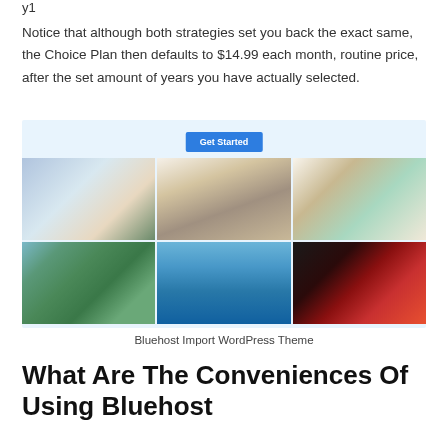y1
Notice that although both strategies set you back the exact same, the Choice Plan then defaults to $14.99 each month, routine price, after the set amount of years you have actually selected.
[Figure (screenshot): Bluehost WordPress theme import interface showing a 'Get Started' button and a 3x2 grid of website theme thumbnails including photography, fashion, surf shop, forest art, ocean wave, and restaurant themes]
Bluehost Import WordPress Theme
What Are The Conveniences Of Using Bluehost